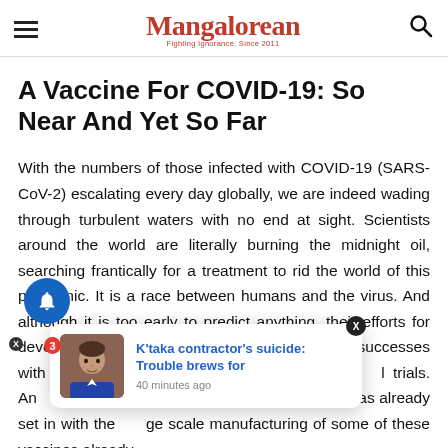Mangalorean
A Vaccine For COVID-19: So Near And Yet So Far
With the numbers of those infected with COVID-19 (SARS-CoV-2) escalating every day globally, we are indeed wading through turbulent waters with no end at sight. Scientists around the world are literally burning the midnight oil, searching frantically for a treatment to rid the world of this pandemic. It is a race between humans and the virus. And although it is too early to predict anything, their efforts for developing a vaccine have met with some initial successes with 5 candidat… l trials. An… ne, a historic moment has already set in with the …ge scale manufacturing of some of these vaccines already…
[Figure (screenshot): Notification popup card showing a man's photo with headline 'K'taka contractor's suicide: Trouble brews for' and timestamp '40 minutes ago']